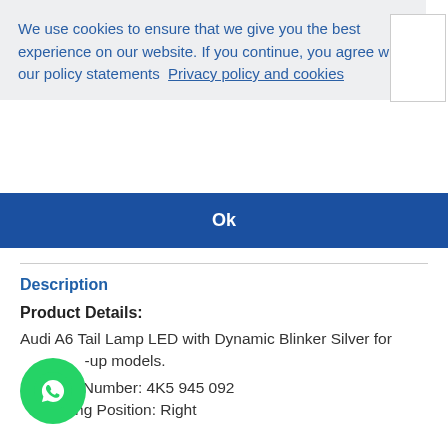We use cookies to ensure that we give you the best experience on our website. If you continue, you agree with our policy statements  Privacy policy and cookies
Ok
Description
Product Details:
Audi A6 Tail Lamp LED with Dynamic Blinker Silver for -up models.
Part Number: 4K5 945 092
Fitting Position: Right